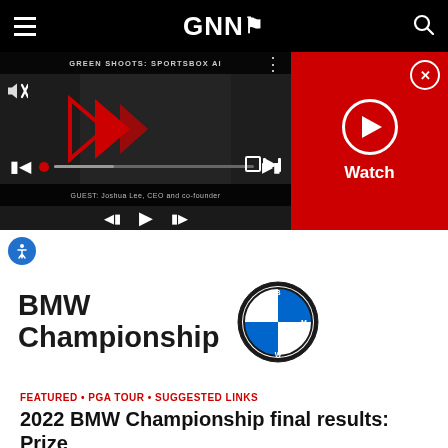GNN (navigation bar with hamburger menu and search)
[Figure (screenshot): Video player showing GREEN SHOOTS: SPORTSBOX AI episode with playback controls, muted state, and progress bar. Guest: Joshua Lee, CEO and co-founder.]
[Figure (screenshot): Red Watch panel with circular play button and close (X) button]
[Figure (logo): BMW Championship logo with BMW roundel icon]
FEATURED • PGA TOUR • SUGGESTED LINKS
2022 BMW Championship final results: Prize